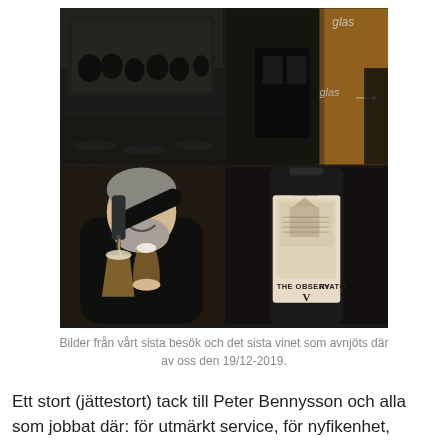[Figure (photo): A 2×2 collage of photos from a bar/restaurant called 'glas'. Top-left: dark interior with people sitting at tables reflected in mirrors. Top-right: narrow alleyway/exterior shot of the venue with 'glas' signage visible, warm amber lighting. Bottom-left: a smiling man with grey hair and beard in a black shirt pouring beer from a bottle into a tulip glass. Bottom-right: close-up of a wine bottle labeled 'THE OBSERVATORY V'.]
Bilder från vårt sista besök och det sista vinet som avnjöts där av oss den 19/12-2019.
Ett stort (jättestort) tack till Peter Bennysson och alla som jobbat där: för utmärkt service, för nyfikenhet,